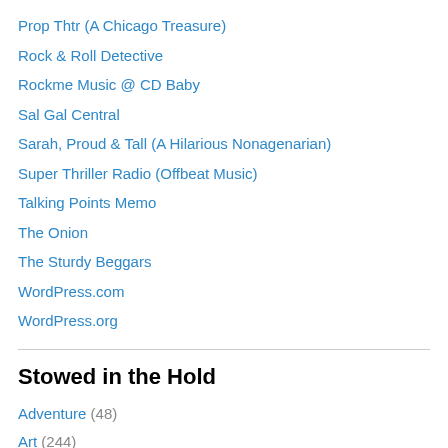Prop Thtr (A Chicago Treasure)
Rock & Roll Detective
Rockme Music @ CD Baby
Sal Gal Central
Sarah, Proud & Tall (A Hilarious Nonagenarian)
Super Thriller Radio (Offbeat Music)
Talking Points Memo
The Onion
The Sturdy Beggars
WordPress.com
WordPress.org
Stowed in the Hold
Adventure (48)
Art (244)
Beauty (96)
Comedy (163)
History (163)